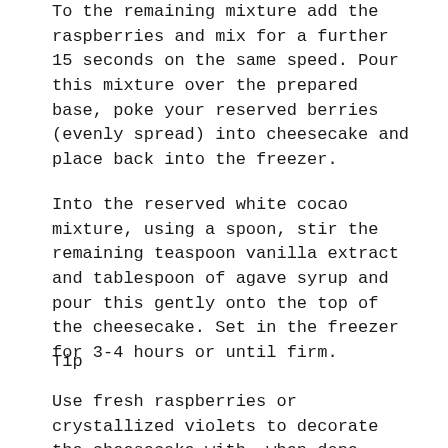To the remaining mixture add the raspberries and mix for a further 15 seconds on the same speed. Pour this mixture over the prepared base, poke your reserved berries (evenly spread) into cheesecake and place back into the freezer.
Into the reserved white cocao mixture, using a spoon, stir the remaining teaspoon vanilla extract and tablespoon of agave syrup and pour this gently onto the top of the cheesecake. Set in the freezer for 3-4 hours or until firm.
Tip
Use fresh raspberries or crystallized violets to decorate the cheesecake with, when done. Rosewater and butter